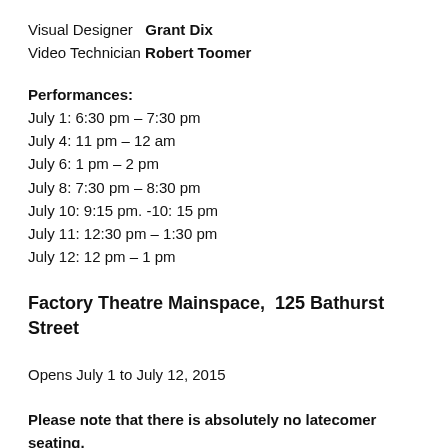Visual Designer   Grant Dix
Video Technician  Robert Toomer
Performances:
July 1: 6:30 pm – 7:30 pm
July 4: 11 pm – 12 am
July 6: 1 pm – 2 pm
July 8: 7:30 pm – 8:30 pm
July 10: 9:15 pm. -10: 15 pm
July 11: 12:30 pm – 1:30 pm
July 12: 12 pm – 1 pm
Factory Theatre Mainspace,  125 Bathurst Street
Opens July 1 to July 12, 2015
Please note that there is absolutely no latecomer seating.